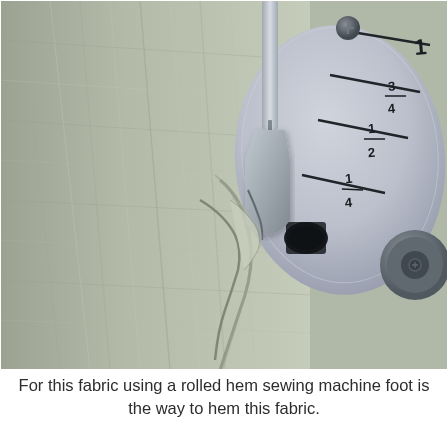[Figure (photo): Close-up photograph of a sewing machine rolled hem foot in action on sheer/lightweight fabric. The needle plate shows measurement markings: 1/4, 1/2, 3/4, and 1 inch seam guides. The rolled hem foot is curling the edge of pale green/grey sheer fabric as it feeds through the machine.]
For this fabric using a rolled hem sewing machine foot is the way to hem this fabric.